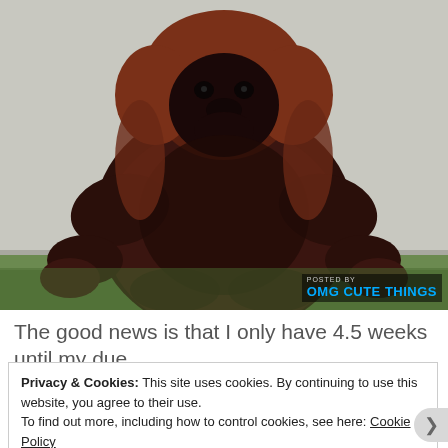[Figure (photo): A very large, obese orangutan sitting on grass against a white concrete wall, shown from the front. The animal has reddish-brown fur and an enormous rounded belly. Watermark in bottom-right reads 'POSTED BY / OMG CUTE THINGS' in blue bold text.]
The good news is that I only have 4.5 weeks until my due
Privacy & Cookies: This site uses cookies. By continuing to use this website, you agree to their use.
To find out more, including how to control cookies, see here: Cookie Policy
Close and accept